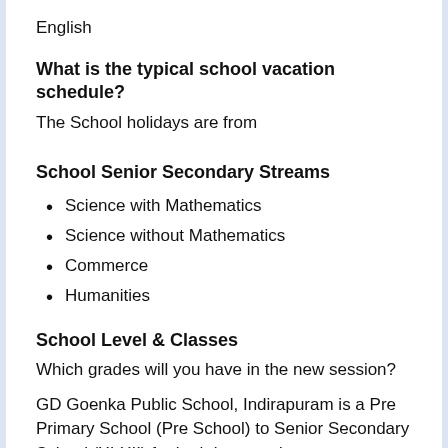English
What is the typical school vacation schedule?
The School holidays are from
School Senior Secondary Streams
Science with Mathematics
Science without Mathematics
Commerce
Humanities
School Level & Classes
Which grades will you have in the new session?
GD Goenka Public School, Indirapuram is a Pre Primary School (Pre School) to Senior Secondary School (XI-XII) for both boys and